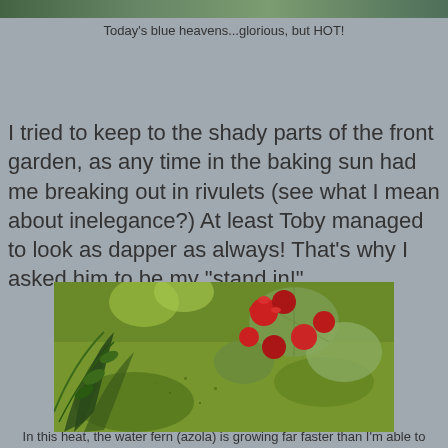[Figure (photo): Partial view of a blue sky garden photo cropped at top of page]
Today's blue heavens...glorious, but HOT!
I tried to keep to the shady parts of the front garden, as any time in the baking sun had me breaking out in rivulets (see what I mean about inelegance?)  At least Toby managed to look as dapper as always!  That's why I asked him to be my "stand in!"
[Figure (photo): Garden pond scene with green water fern (azola) covering the water surface, red flowers floating among large round lily pads, and fern fronds in the foreground]
In this heat, the water fern (azola) is growing far faster than I'm able to